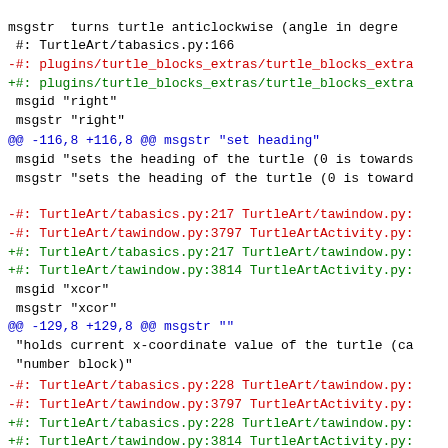msgstr  turns turtle anticlockwise (angle in degre...
#: TurtleArt/tabasics.py:166
-#: plugins/turtle_blocks_extras/turtle_blocks_extra...
+#: plugins/turtle_blocks_extras/turtle_blocks_extra...
 msgid "right"
 msgstr "right"
@@ -116,8 +116,8 @@ msgstr "set heading"
 msgid "sets the heading of the turtle (0 is towards...
 msgstr "sets the heading of the turtle (0 is toward...
-#: TurtleArt/tabasics.py:217 TurtleArt/tawindow.py:...
-#: TurtleArt/tawindow.py:3797 TurtleArtActivity.py:...
+#: TurtleArt/tabasics.py:217 TurtleArt/tawindow.py:...
+#: TurtleArt/tawindow.py:3814 TurtleArtActivity.py:...
 msgid "xcor"
 msgstr "xcor"
@@ -129,8 +129,8 @@ msgstr ""
 "holds current x-coordinate value of the turtle (ca...
 "number block)"
-#: TurtleArt/tabasics.py:228 TurtleArt/tawindow.py:...
-#: TurtleArt/tawindow.py:3797 TurtleArtActivity.py:...
+#: TurtleArt/tabasics.py:228 TurtleArt/tawindow.py:...
+#: TurtleArt/tawindow.py:3814 TurtleArtActivity.py:...
 msgid "ycor"
 msgstr "ycor"
@@ -142,8 +142,8 @@ msgstr ""